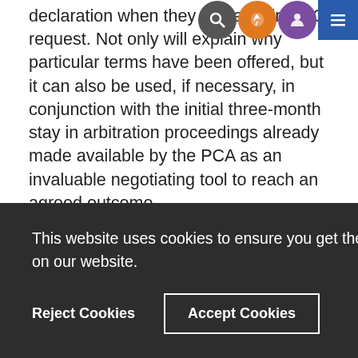declaration when they make their MRO request. Not only will explain why particular terms have been offered, but it can also be used, if necessary, in conjunction with the initial three-month stay in arbitration proceedings already made available by the PCA as an invaluable negotiating tool to reach an agreed outcome.
More information can be found here.
If you have already been through the MRO process, tell
This website uses cookies to ensure you get the best experience on our website.
Reject Cookies
Accept Cookies